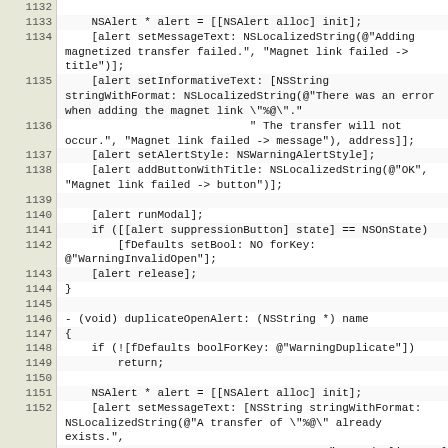[Figure (screenshot): Source code listing in Objective-C showing lines 1132–1155, with line numbers in a shaded left column and code on white background. Covers NSAlert warning and duplicate open alert methods.]